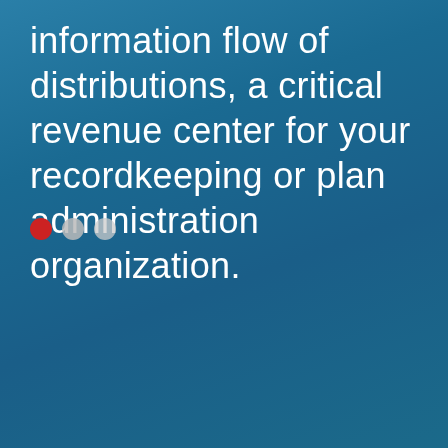information flow of distributions, a critical revenue center for your recordkeeping or plan administration organization.
[Figure (other): Three navigation dots: one red (active) and two gray, indicating a carousel or slideshow position indicator.]